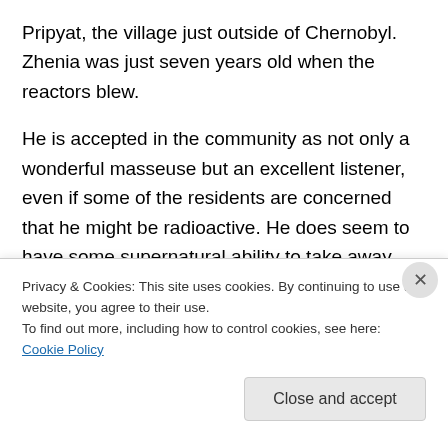Pripyat, the village just outside of Chernobyl. Zhenia was just seven years old when the reactors blew.
He is accepted in the community as not only a wonderful masseuse but an excellent listener, even if some of the residents are concerned that he might be radioactive. He does seem to have some supernatural ability to take away pain and anxiety, even for a little while. He also can hypnotize his clients and from time to time move objects with the power of his mind.
Some of the village members are in the...
Privacy & Cookies: This site uses cookies. By continuing to use this website, you agree to their use.
To find out more, including how to control cookies, see here: Cookie Policy